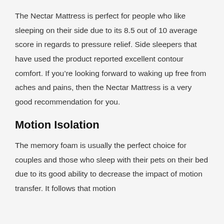The Nectar Mattress is perfect for people who like sleeping on their side due to its 8.5 out of 10 average score in regards to pressure relief. Side sleepers that have used the product reported excellent contour comfort. If you're looking forward to waking up free from aches and pains, then the Nectar Mattress is a very good recommendation for you.
Motion Isolation
The memory foam is usually the perfect choice for couples and those who sleep with their pets on their bed due to its good ability to decrease the impact of motion transfer. It follows that motion